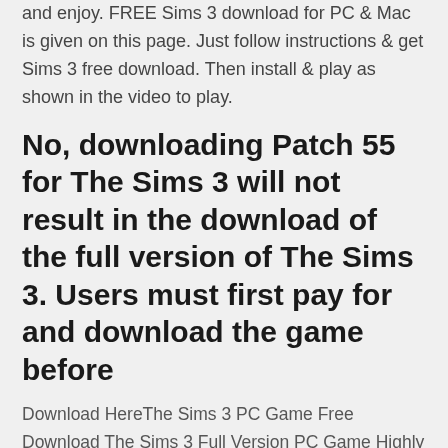and enjoy. FREE Sims 3 download for PC & Mac is given on this page. Just follow instructions & get Sims 3 free download. Then install & play as shown in the video to play.
No, downloading Patch 55 for The Sims 3 will not result in the download of the full version of The Sims 3. Users must first pay for and download the game before
Download HereThe Sims 3 PC Game Free Download The Sims 3 Full Version PC Game Highly Compressed Setup Direct Link. Title: The Sims 3 Genre: Simulation Developer: The Sims Studio Publisher: Electronic Arts Release Date: 2 Jun 2009 The Sims 3... Diablo 3 is an action role-playing game of Blizzard Entertainment, the third installment of the Diablo series. The